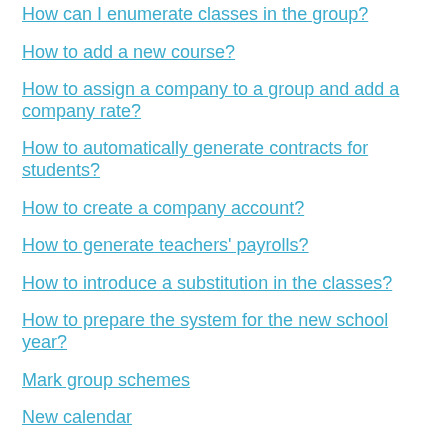How can I enumerate classes in the group?
How to add a new course?
How to assign a company to a group and add a company rate?
How to automatically generate contracts for students?
How to create a company account?
How to generate teachers' payrolls?
How to introduce a substitution in the classes?
How to prepare the system for the new school year?
Mark group schemes
New calendar
New students
News
Notifications – settings